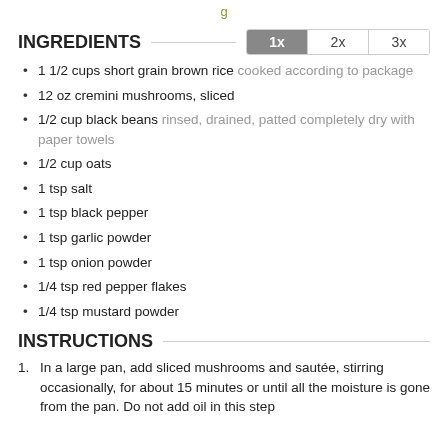INGREDIENTS
1 1/2 cups short grain brown rice cooked according to package
12 oz cremini mushrooms, sliced
1/2 cup black beans rinsed, drained, patted completely dry with paper towels
1/2 cup oats
1 tsp salt
1 tsp black pepper
1 tsp garlic powder
1 tsp onion powder
1/4 tsp red pepper flakes
1/4 tsp mustard powder
INSTRUCTIONS
In a large pan, add sliced mushrooms and sautée, stirring occasionally, for about 15 minutes or until all the moisture is gone from the pan. Do not add oil in this step